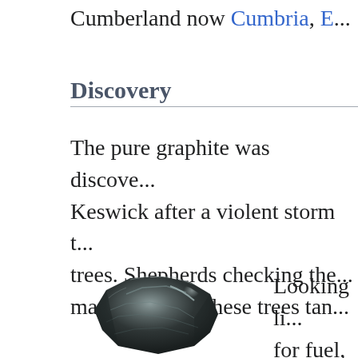Cumberland now Cumbria, E...
Discovery
The pure graphite was discovered near Keswick after a violent storm that uprooted trees. Shepherds checking the material under these trees tan...
[Figure (photo): A chunk of dark grey/black graphite mineral specimen, lustrous metallic surface]
Looking li... for fuel, b... mark thei...